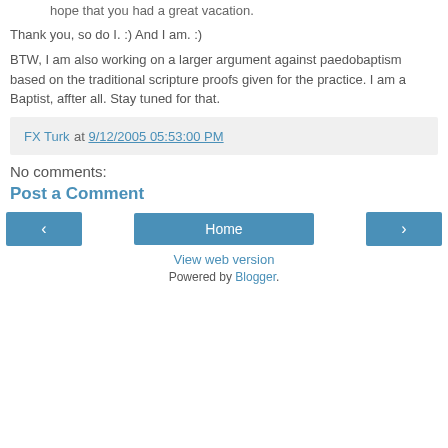hope that you had a great vacation.
Thank you, so do I. :) And I am. :)
BTW, I am also working on a larger argument against paedobaptism based on the traditional scripture proofs given for the practice. I am a Baptist, affter all. Stay tuned for that.
FX Turk at 9/12/2005 05:53:00 PM
No comments:
Post a Comment
< Home > View web version Powered by Blogger.